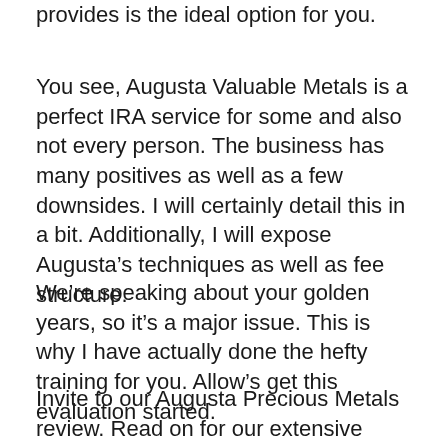provides is the ideal option for you.
You see, Augusta Valuable Metals is a perfect IRA service for some and also not every person. The business has many positives as well as a few downsides. I will certainly detail this in a bit. Additionally, I will expose Augusta’s techniques as well as fee structure.
We’re speaking about your golden years, so it’s a major issue. This is why I have actually done the hefty training for you. Allow’s get this evaluation started.
Invite to our Augusta Precious Metals review. Read on for our extensive evaluation of the best Gold Individual Retirement Account firm…